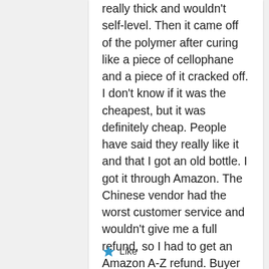really thick and wouldn't self-level. Then it came off of the polymer after curing like a piece of cellophane and a piece of it cracked off. I don't know if it was the cheapest, but it was definitely cheap. People have said they really like it and that I got an old bottle. I got it through Amazon. The Chinese vendor had the worst customer service and wouldn't give me a full refund, so I had to get an Amazon A-Z refund. Buyer beware. You usually get what you pay for.
Like